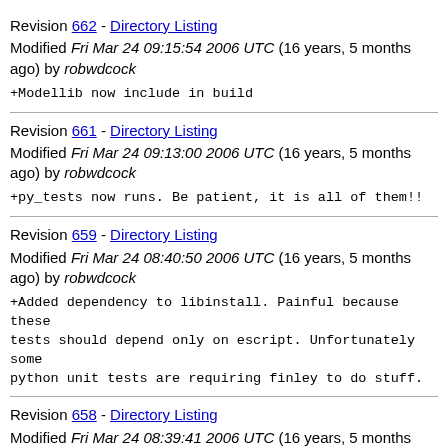Revision 662 - Directory Listing
Modified Fri Mar 24 09:15:54 2006 UTC (16 years, 5 months ago) by robwdcock
+Modellib now include in build
Revision 661 - Directory Listing
Modified Fri Mar 24 09:13:00 2006 UTC (16 years, 5 months ago) by robwdcock
+py_tests now runs. Be patient, it is all of them!!
Revision 659 - Directory Listing
Modified Fri Mar 24 08:40:50 2006 UTC (16 years, 5 months ago) by robwdcock
+Added dependency to libinstall. Painful because these tests should depend only on escript. Unfortunately some python unit tests are requiring finley to do stuff.
Revision 658 - Directory Listing
Modified Fri Mar 24 08:39:41 2006 UTC (16 years, 5 months ago) by robwdcock